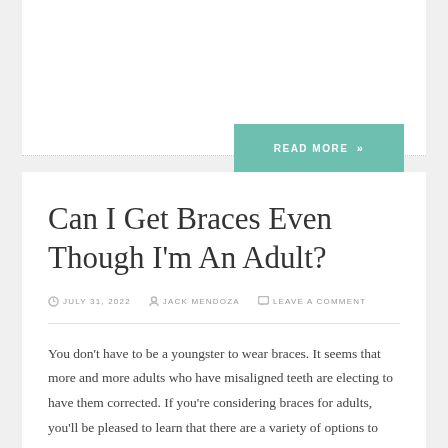[Figure (other): Read More button in teal/green color]
Can I Get Braces Even Though I'm An Adult?
JULY 31, 2022   JACK MENDOZA   LEAVE A COMMENT
You don't have to be a youngster to wear braces. It seems that more and more adults who have misaligned teeth are electing to have them corrected. If you're considering braces for adults, you'll be pleased to learn that there are a variety of options to choose